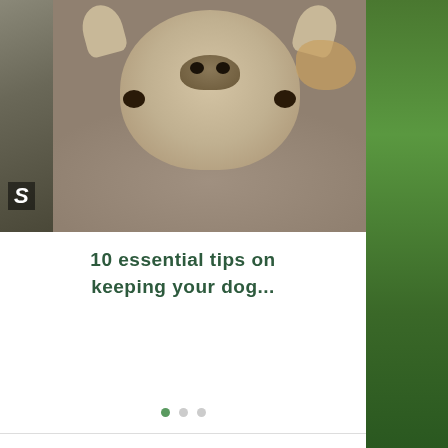[Figure (photo): Three photos in a horizontal strip: left shows partial dark image with 'S' text, center shows a French Bulldog lying upside down on a grey sofa, right shows green grass with a dog partially visible]
10 essential tips on keeping your dog...
[Figure (infographic): Three navigation dots, first one active/green, two inactive grey]
OPENING HOURS
7 days a week
10am- 12pm & 2pm -4pm
(Closed All bank holidays, Christmas Day, Boxing Day & New Years Day for drop off and collection)
VAT No: 296 2961 55
Fully Licensed:Anjuli Kershaw, AWL0011
Fully Insured
Privacy Policy